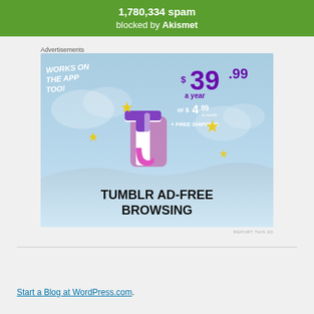1,780,334 spam blocked by Akismet
Advertisements
[Figure (infographic): Tumblr Ad-Free Browsing advertisement banner showing the Tumblr 't' logo with sparkles, pricing of $39.99 a year or $4.99 a month plus free shipping, with text 'Works on the App Too!' on a sky blue background]
REPORT THIS AD
Start a Blog at WordPress.com.